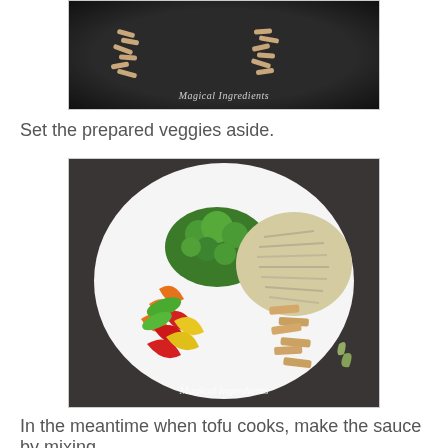[Figure (photo): Top-down view of tofu strips cooking in a dark cast iron pan, watermark reads 'Magical Ingredients']
Set the prepared veggies aside.
[Figure (photo): White plate with prepared vegetables arranged in sections: broccoli, shredded cabbage, tofu strips, colorful bell pepper strips and carrots. Watermark reads 'Magical Ingredients']
In the meantime when tofu cooks, make the sauce by mixing